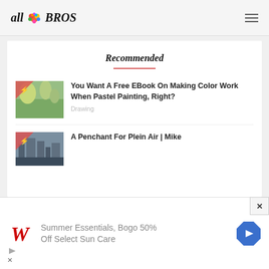all BROS
Recommended
[Figure (photo): Thumbnail image of a colorful pastel landscape painting showing trees and a path, with a pink lightning bolt badge overlay in the top-left corner]
You Want A Free EBook On Making Color Work When Pastel Painting, Right?
Drawing
[Figure (photo): Thumbnail image of an outdoor plein air scene with industrial or urban elements, with a pink lightning bolt badge overlay in the top-left corner]
A Penchant For Plein Air | Mike
[Figure (screenshot): Advertisement banner for Walgreens: Summer Essentials, Bogo 50% Off Select Sun Care, with Walgreens W logo and a blue diamond-shaped navigation arrow icon]
Summer Essentials, Bogo 50% Off Select Sun Care